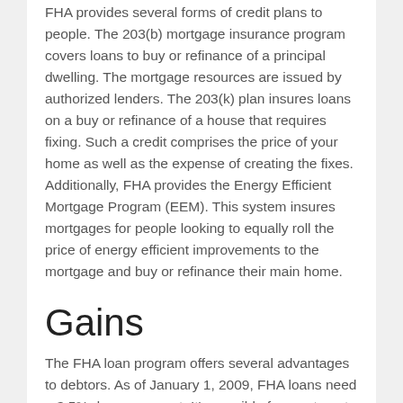FHA provides several forms of credit plans to people. The 203(b) mortgage insurance program covers loans to buy or refinance of a principal dwelling. The mortgage resources are issued by authorized lenders. The 203(k) plan insures loans on a buy or refinance of a house that requires fixing. Such a credit comprises the price of your home as well as the expense of creating the fixes. Additionally, FHA provides the Energy Efficient Mortgage Program (EEM). This system insures mortgages for people looking to equally roll the price of energy efficient improvements to the mortgage and buy or refinance their main home.
Gains
The FHA loan program offers several advantages to debtors. As of January 1, 2009, FHA loans need a 3.5% down payment. It's possible for you to get the deposit as something special from nearest and dearest to you personally or get it from other resources such as down